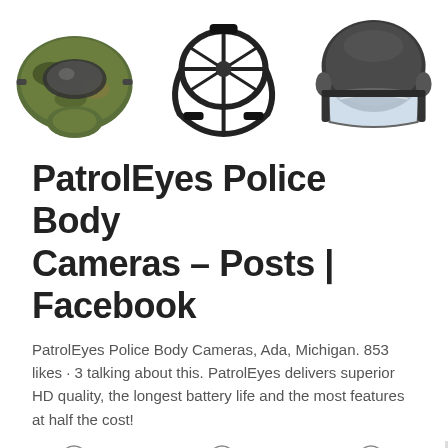[Figure (photo): Three tactical/military helmet and head gear products shown in a row against white background]
PatrolEyes Police Body Cameras - Posts | Facebook
PatrolEyes Police Body Cameras, Ada, Michigan. 853 likes · 3 talking about this. PatrolEyes delivers superior HD quality, the longest battery life and the most features at half the cost!
[Figure (photo): Three Deekon branded military/tactical product images shown in a row: camouflage fabric, military rank patches with stars, and a black tactical bag]